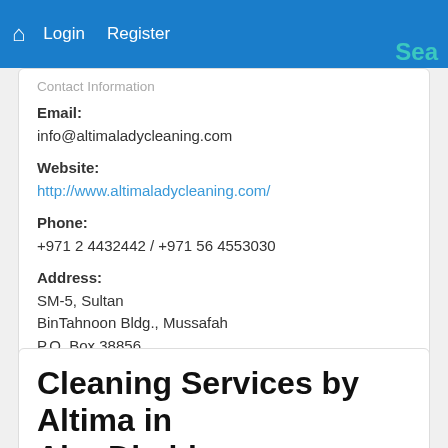Login  Register  Sea
Contact Information
Email:
info@altimaladycleaning.com
Website:
http://www.altimaladycleaning.com/
Phone:
+971 2 4432442 / +971 56 4553030
Address:
SM-5, Sultan
BinTahnoon Bldg., Mussafah
P.O. Box 38856
Cleaning Services by Altima in Abu Dhabi